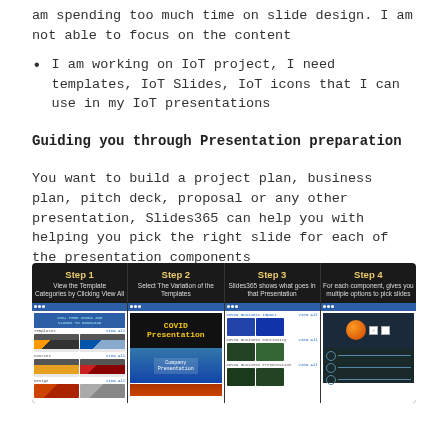am spending too much time on slide design. I am not able to focus on the content
I am working on IoT project, I need templates, IoT Slides, IoT icons that I can use in my IoT presentations
Guiding you through Presentation preparation
You want to build a project plan, business plan, pitch deck, proposal or any other presentation, Slides365 can help you with helping you pick the right slide for each of the presentation components
[Figure (screenshot): Four-step process diagram showing how to use Slides365 to build presentations. Step 1: View the Template Categories by Clicking View All. Step 2: Select The Variation of the Templates. Step 3: Slides365 shows what goes in that Presentation. Step 4: For each component, gives you multiple options to pick slides. Each step shows a screenshot of the Slides365 web application interface.]